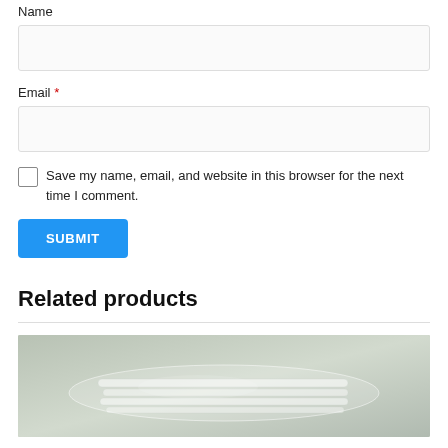Name
[Figure (other): Empty text input field for Name]
Email *
[Figure (other): Empty text input field for Email]
Save my name, email, and website in this browser for the next time I comment.
SUBMIT
Related products
[Figure (photo): Product photo showing clear plastic packaging/straws on a gray background]